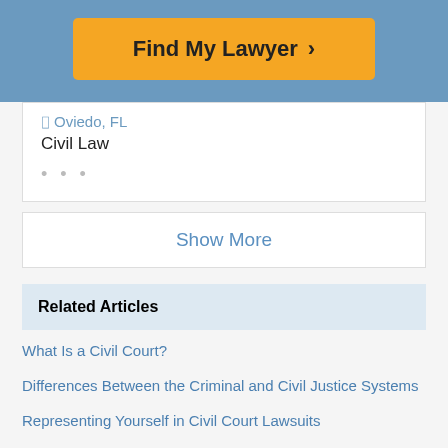[Figure (other): Blue header banner with orange 'Find My Lawyer >' button]
📍 Oviedo, FL
Civil Law
• • •
Show More
Related Articles
What Is a Civil Court?
Differences Between the Criminal and Civil Justice Systems
Representing Yourself in Civil Court Lawsuits
Preponderance of the Evidence vs. Beyond a Reasonable Doubt